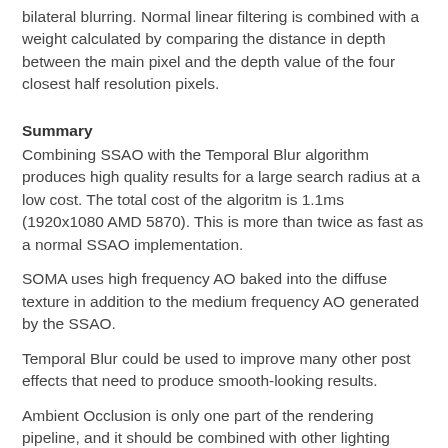bilateral blurring. Normal linear filtering is combined with a weight calculated by comparing the distance in depth between the main pixel and the depth value of the four closest half resolution pixels.
Summary
Combining SSAO with the Temporal Blur algorithm produces high quality results for a large search radius at a low cost. The total cost of the algoritm is 1.1ms (1920x1080 AMD 5870). This is more than twice as fast as a normal SSAO implementation.
SOMA uses high frequency AO baked into the diffuse texture in addition to the medium frequency AO generated by the SSAO.
Temporal Blur could be used to improve many other post effects that need to produce smooth-looking results.
Ambient Occlusion is only one part of the rendering pipeline, and it should be combined with other lighting techniques to give the final look.